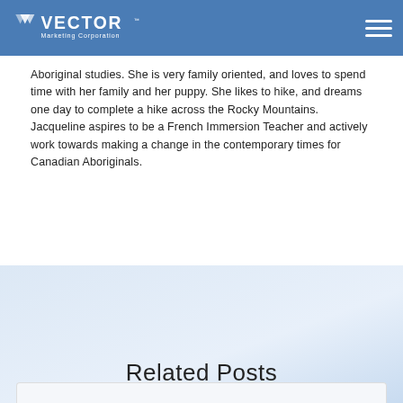Vector Marketing Corporation
Aboriginal studies. She is very family oriented, and loves to spend time with her family and her puppy. She likes to hike, and dreams one day to complete a hike across the Rocky Mountains. Jacqueline aspires to be a French Immersion Teacher and actively work towards making a change in the contemporary times for Canadian Aboriginals.
Related Posts